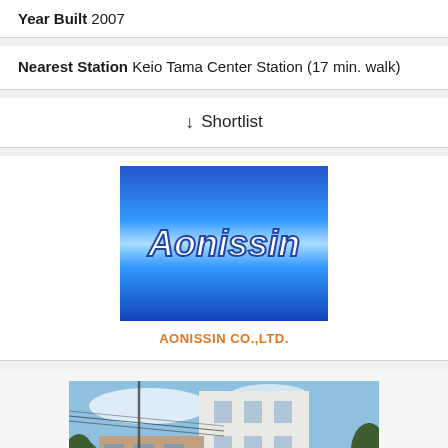Year Built 2007
Nearest Station Keio Tama Center Station (17 min. walk)
Shortlist
[Figure (logo): Aonissin company logo on blue gradient background]
AONISSIN CO.,LTD.
[Figure (photo): Street-level photo of a multi-story white apartment building with trees and utility lines visible]